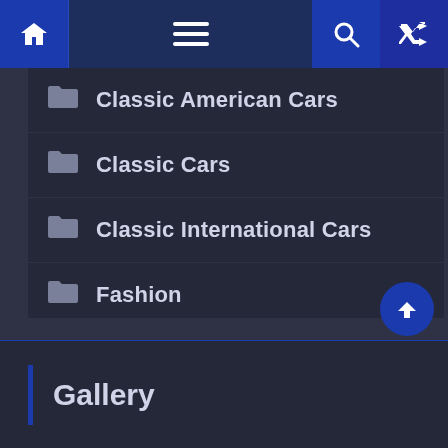Navigation bar with home, menu, search, and random icons
Classic American Cars
Classic Cars
Classic International Cars
Fashion
International
National
Politics
Gallery